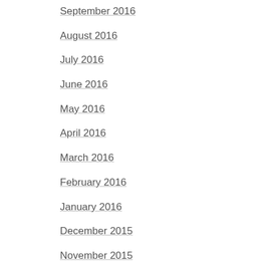September 2016
August 2016
July 2016
June 2016
May 2016
April 2016
March 2016
February 2016
January 2016
December 2015
November 2015
June 2015
April 2015
February 2015